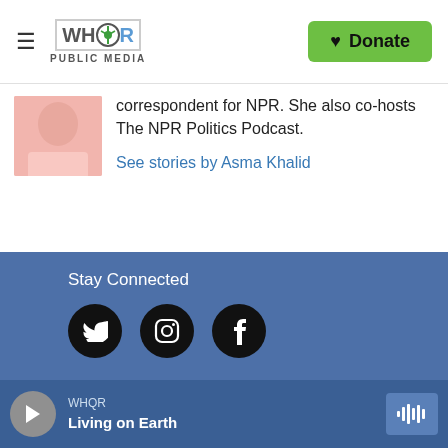WHQR PUBLIC MEDIA — Donate
[Figure (photo): Partial photo of a person wearing a light pink top, cropped to show shoulder and chin area]
correspondent for NPR. She also co-hosts The NPR Politics Podcast.
See stories by Asma Khalid
Stay Connected
[Figure (infographic): Three social media icon circles: Twitter (bird icon), Instagram (camera icon), Facebook (f icon)]
WHQR — Living on Earth